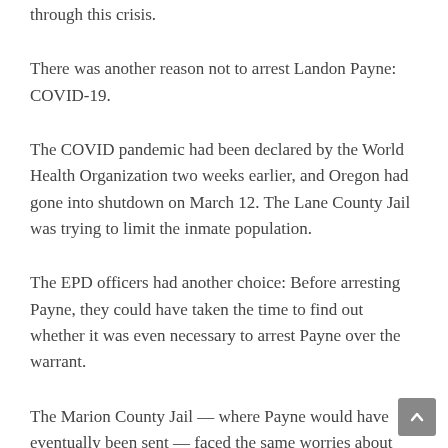through this crisis.
There was another reason not to arrest Landon Payne: COVID-19.
The COVID pandemic had been declared by the World Health Organization two weeks earlier, and Oregon had gone into shutdown on March 12. The Lane County Jail was trying to limit the inmate population.
The EPD officers had another choice: Before arresting Payne, they could have taken the time to find out whether it was even necessary to arrest Payne over the warrant.
The Marion County Jail — where Payne would have eventually been sent — faced the same worries about COVID as Lane County. Had the EPD officers inquired, they would have learned Marion County didn't want